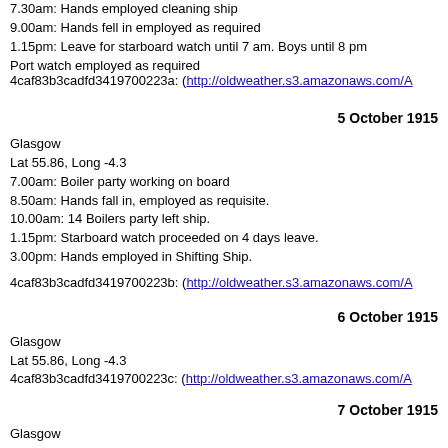7.30am: Hands employed cleaning ship
9.00am: Hands fell in employed as required
1.15pm: Leave for starboard watch until 7 am. Boys until 8 pm
Port watch employed as required
4caf83b3cadfd3419700223a: (http://oldweather.s3.amazonaws.com/A
5 October 1915
Glasgow
Lat 55.86, Long -4.3
7.00am: Boiler party working on board
8.50am: Hands fall in, employed as requisite.
10.00am: 14 Boilers party left ship.
1.15pm: Starboard watch proceeded on 4 days leave.
3.00pm: Hands employed in Shifting Ship.
4caf83b3cadfd3419700223b: (http://oldweather.s3.amazonaws.com/A
6 October 1915
Glasgow
Lat 55.86, Long -4.3
4caf83b3cadfd3419700223c: (http://oldweather.s3.amazonaws.com/A
7 October 1915
Glasgow
Lat 55.86, Long -4.3
12.30pm: Prize crew belonging to HMS Collumbella came onboard
4caf83b3cadfd3419700223d: (http://oldweather.s3.amazonaws.com/A